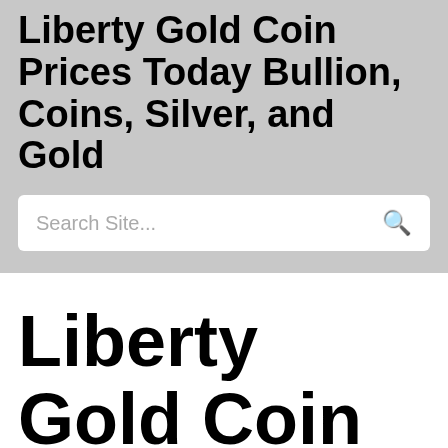Liberty Gold Coin Prices Today Bullion, Coins, Silver, and Gold
Search Site...
Liberty Gold Coin Prices